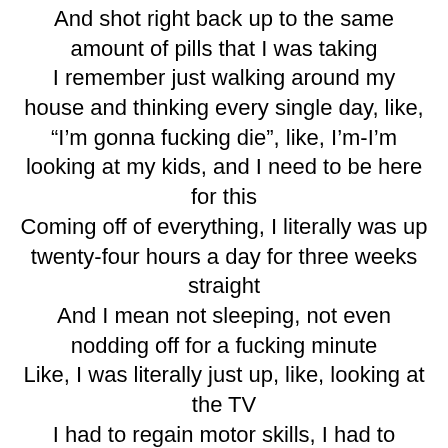And shot right back up to the same amount of pills that I was taking
I remember just walking around my house and thinking every single day, like, “I’m gonna fucking die”, like, I’m-I’m looking at my kids, and I need to be here for this
Coming off of everything, I literally was up twenty-four hours a day for three weeks straight
And I mean not sleeping, not even nodding off for a fucking minute
Like, I was literally just up, like, looking at the TV
I had to regain motor skills, I had to regain talking skills
It’s been a-a learning process, like, it’s been, I’m growing
I just couldn’t believe that anybody could